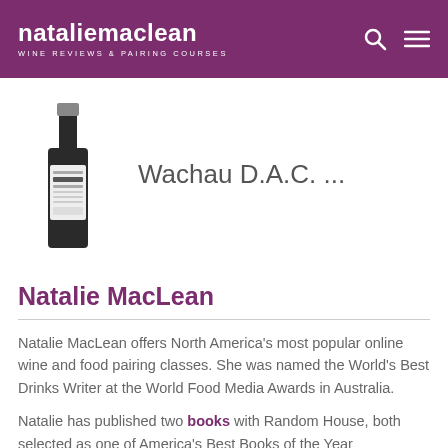natalie maclean — WINE REVIEWS & PAIRING COURSES
Wachau D.A.C. ...
[Figure (photo): A dark wine bottle with a label reading Pohler-Krutzer or similar text]
Natalie MacLean
Natalie MacLean offers North America's most popular online wine and food pairing classes. She was named the World's Best Drinks Writer at the World Food Media Awards in Australia.
Natalie has published two books with Random House, both selected as one of America's Best Books of the Year...